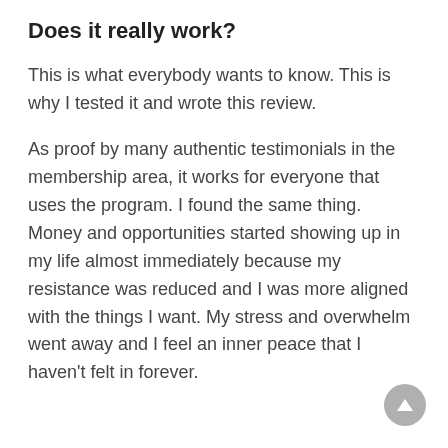Does it really work?
This is what everybody wants to know. This is why I tested it and wrote this review.
As proof by many authentic testimonials in the membership area, it works for everyone that uses the program. I found the same thing. Money and opportunities started showing up in my life almost immediately because my resistance was reduced and I was more aligned with the things I want. My stress and overwhelm went away and I feel an inner peace that I haven't felt in forever.